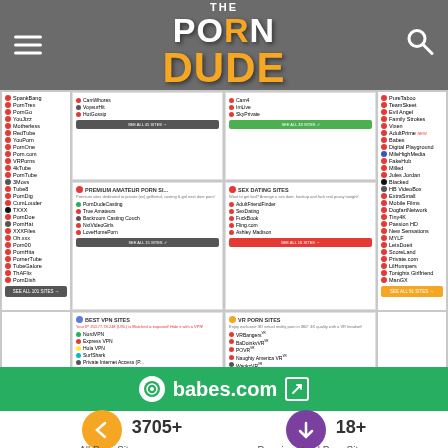[Figure (screenshot): The Porn Dude website header with logo showing 'THE PORN DUDE' in white and gold text on gray background, hamburger menu on left, search icon on right]
[Figure (screenshot): Screenshot of The Porn Dude website showing grid of adult site categories including Premium Amateur Porn Sites, Sex Dating Sites, Best VPN Sites, VR Porn Sites, Asian Porn Sites, Hentai Porn Sites, Hentai Streaming Sites, Best Porn Games with site listings and 'See All Sites' buttons]
[Figure (screenshot): Green banner advertisement for babes.com with external link icon]
3705+
All Porn Sites
18+
Premium Anal Porn Sites